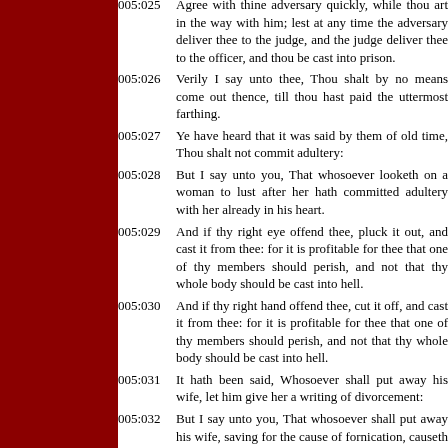005:025 Agree with thine adversary quickly, while thou art in the way with him; lest at any time the adversary deliver thee to the judge, and the judge deliver thee to the officer, and thou be cast into prison.
005:026 Verily I say unto thee, Thou shalt by no means come out thence, till thou hast paid the uttermost farthing.
005:027 Ye have heard that it was said by them of old time, Thou shalt not commit adultery:
005:028 But I say unto you, That whosoever looketh on a woman to lust after her hath committed adultery with her already in his heart.
005:029 And if thy right eye offend thee, pluck it out, and cast it from thee: for it is profitable for thee that one of thy members should perish, and not that thy whole body should be cast into hell.
005:030 And if thy right hand offend thee, cut it off, and cast it from thee: for it is profitable for thee that one of thy members should perish, and not that thy whole body should be cast into hell.
005:031 It hath been said, Whosoever shall put away his wife, let him give her a writing of divorcement:
005:032 But I say unto you, That whosoever shall put away his wife, saving for the cause of fornication, causeth her to commit adultery: and whosoever shall marry her that is divorced committeth adultery.
005:033 Again, ye have heard that it hath been said by them of old time, Thou shalt not forswear thyself, but shalt perform unto the Lord thine oaths:
005:034 But I say unto you, Swear not at all; neither by heaven; for it is God's throne:
005:035 Nor by the earth; for it is his footstool: neither by Jerusalem; for it is the city of the great King.
005:036 Neither shalt thou swear by thy head, because thou canst not make one hair white or black.